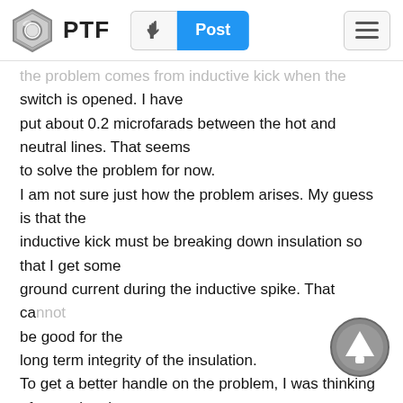PTF  Post
the problem comes from inductive kick when the switch is opened. I have put about 0.2 microfarads between the hot and neutral lines. That seems to solve the problem for now. I am not sure just how the problem arises. My guess is that the inductive kick must be breaking down insulation so that I get some ground current during the inductive spike. That cannot be good for the long term integrity of the insulation. To get a better handle on the problem, I was thinking of removing the ground connection to the pumps to see if I still get